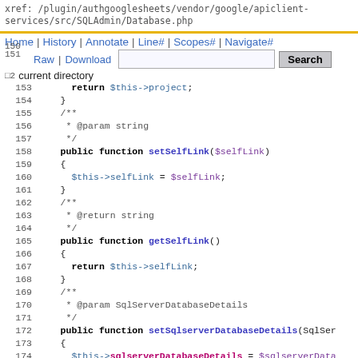xref: /plugin/authgooglesheets/vendor/google/apiclient-services/src/SQLAdmin/Database.php
Home | History | Annotate | Line# | Scopes# | Navigate#
Raw | Download   [Search]   current directory
153     return $this->project;
154   }
155   /**
156    * @param string
157    */
158   public function setSelfLink($selfLink)
159   {
160     $this->selfLink = $selfLink;
161   }
162   /**
163    * @return string
164    */
165   public function getSelfLink()
166   {
167     return $this->selfLink;
168   }
169   /**
170    * @param SqlServerDatabaseDetails
171    */
172   public function setSqlserverDatabaseDetails(SqlSer
173   {
174     $this->sqlserverDatabaseDetails = $sqlserverData
175   }